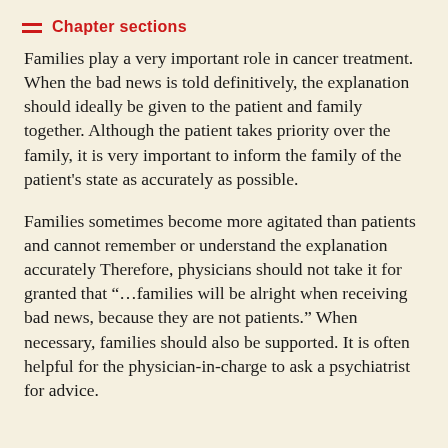Chapter sections
Families play a very important role in cancer treatment. When the bad news is told definitively, the explanation should ideally be given to the patient and family together. Although the patient takes priority over the family, it is very important to inform the family of the patient's state as accurately as possible.
Families sometimes become more agitated than patients and cannot remember or understand the explanation accurately Therefore, physicians should not take it for granted that "...families will be alright when receiving bad news, because they are not patients." When necessary, families should also be supported. It is often helpful for the physician-in-charge to ask a psychiatrist for advice.